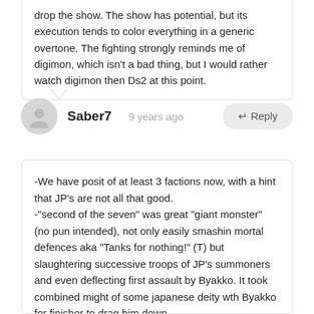drop the show. The show has potential, but its execution tends to color everything in a generic overtone. The fighting strongly reminds me of digimon, which isn't a bad thing, but I would rather watch digimon then Ds2 at this point.
Saber7  9 years ago  ↵ Reply
-We have posit of at least 3 factions now, with a hint that JP's are not all that good.
-"second of the seven" was great "giant monster" (no pun intended), not only easily smashin mortal defences aka "Tanks for nothing!" (T) but slaughtering successive troops of JP's summoners and even deflecting first assault by Byakko. It took combined might of some japanese deity wth Byakko for finisher to drag him down
-actually the commander trying to gauge enemy weaknesses and reserving his strongest units for a final clash is a sound